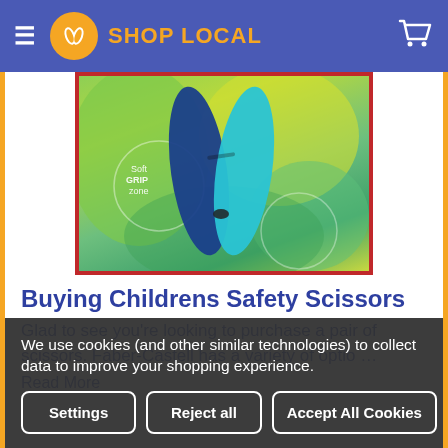SHOP LOCAL
[Figure (photo): Product image of children's safety scissors (Faber-Castell) with blue blades on a colorful green/yellow background, in packaging with red border and 'Soft GRIP zone' label]
Buying Childrens Safety Scissors
Glad to see you're looking to purchase a pair of scissors. Faber-Castell has a variety of optio …
Read More
We use cookies (and other similar technologies) to collect data to improve your shopping experience.